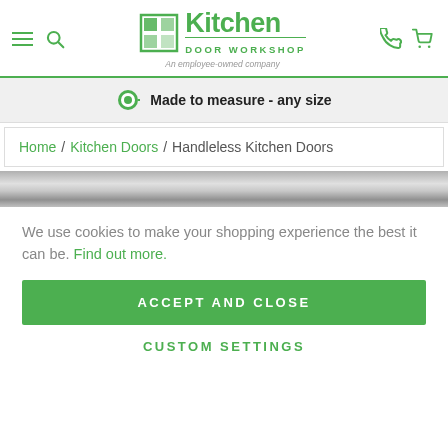Kitchen Door Workshop — An employee-owned company
Made to measure - any size
Home / Kitchen Doors / Handleless Kitchen Doors
[Figure (photo): Metallic/chrome handle or surface close-up strip image]
We use cookies to make your shopping experience the best it can be. Find out more.
ACCEPT AND CLOSE
CUSTOM SETTINGS